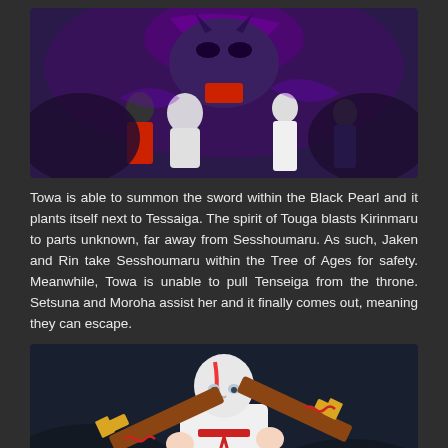[Figure (illustration): Anime screenshot showing characters including a white-haired figure and a demon lord in a dark purple mystical setting]
Towa is able to summon the sword within the Black Pearl and it plants itself next to Tessaiga. The spirit of Touga blasts Kirinmaru to parts unknown, far away from Sesshoumaru. As such, Jaken and Rin take Sesshoumaru within the Tree of Ages for safety. Meanwhile, Towa is unable to pull Tenseiga from the throne. Setsuna and Moroha assist her and it finally comes out, meaning they can escape.
[Figure (illustration): Anime screenshot of a white-haired girl with a red streak holding two swords crossed in front of her, wearing white clothing]